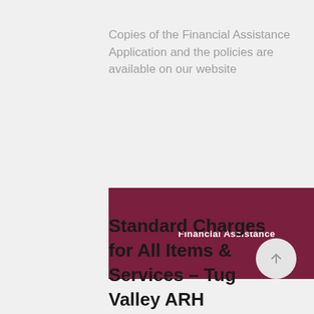Copies of the Financial Assistance Application and the policies are available on our website
[Figure (screenshot): A dark maroon/burgundy button labeled 'Financial Assistance' with a document icon on the right side]
Standard Charges for All Items & Services – Tug Valley ARH